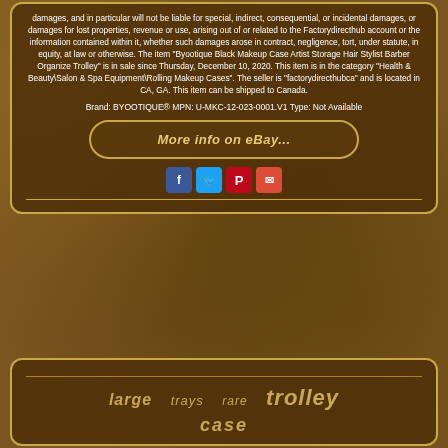damages, and in particular will not be liable for special, indirect, consequential, or incidental damages, or damages for lost properties, revenue or use, arising out of or related to the Factorydirecthub account or the information contained within it, whether such damages arose in contract, negligence, tort, under statute, in equity, at law or otherwise. The item "Byootique Black Makeup Case Artist Storage Hair Stylist Barber Organize Trolley" is in sale since Thursday, December 10, 2020. This item is in the category "Health & Beauty\Salon & Spa Equipment\Rolling Makeup Cases". The seller is "factorydirecthubca" and is located in CA, GA. This item can be shipped to Canada.
Brand: BYOOTIQUE® MPN: U-MKC-12-023-0001.V1 Type: Not Available
[Figure (other): Button styled link reading 'More info on eBay...' with rounded rectangle border]
[Figure (other): Social sharing icons: Facebook (blue), Twitter (light blue), Pinterest (red), Email (red)]
large  trays  rare  trolley
case